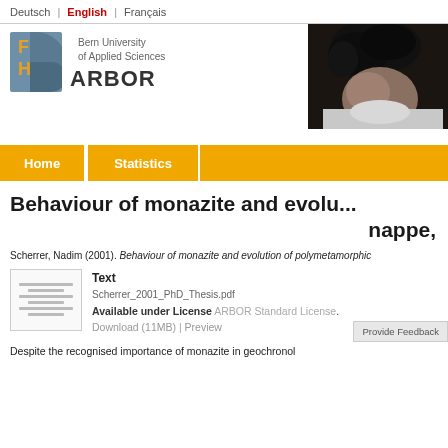Deutsch | English | Français
[Figure (logo): Bern University of Applied Sciences BFH logo with ARBOR text and a partial photo of a person on the right]
Home   Statistics
Behaviour of monazite and evolu… nappe,
Scherrer, Nadim (2001). Behaviour of monazite and evolution of polymetamorphic
Text
Scherrer_2001_PhD_Thesis.pdf
Available under License ARBOR Standard License.
Download (11MB) | Preview
Provide Feedback
Despite the recognised importance of monazite in geochonol